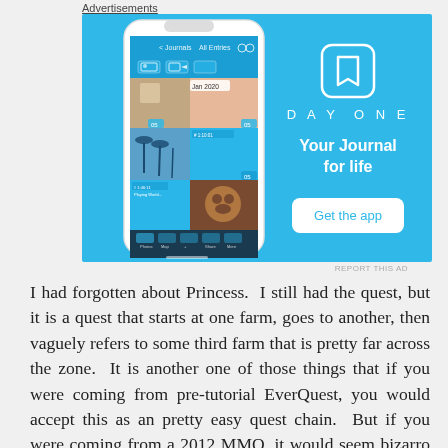Advertisements
[Figure (other): Advertisement for DayOne app showing a phone mockup with a journal app interface on a blue background, with the DAY ONE logo, tagline 'Your Journal for life', and a 'Get the app' button.]
REPORT THIS AD
I had forgotten about Princess.  I still had the quest, but it is a quest that starts at one farm, goes to another, then vaguely refers to some third farm that is pretty far across the zone.  It is another one of those things that if you were coming from pre-tutorial EverQuest, you would accept this as an pretty easy quest chain.  But if you were coming from a 2012 MMO, it would seem bizarro world complex for a starter